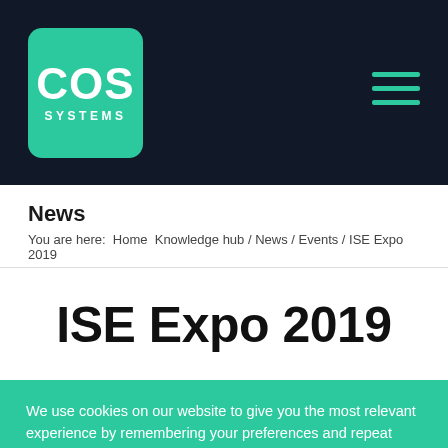[Figure (logo): COS Systems logo — teal rounded square with white text COS large and SYSTEMS smaller below]
Navigation header with COS Systems logo and hamburger menu on dark background
News
You are here: Home Knowledge hub / News / Events / ISE Expo 2019
ISE Expo 2019
We use cookies on our website to give you the most relevant experience by remembering your preferences and repeat visits. By clicking "Accept All", you consent to the use of ALL the cookies. However, you may visit "Cookie Settings" to provide a controlled consent.
Cookie Settings | Accept All